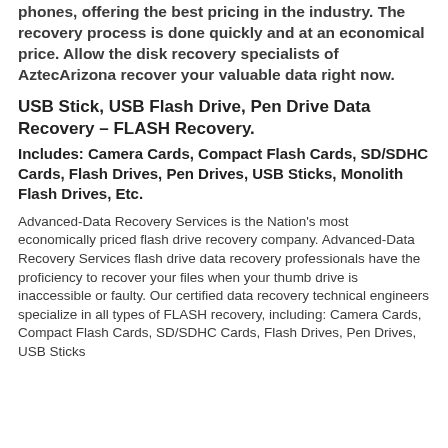phones, offering the best pricing in the industry. The recovery process is done quickly and at an economical price. Allow the disk recovery specialists of AztecArizona recover your valuable data right now.
USB Stick, USB Flash Drive, Pen Drive Data Recovery – FLASH Recovery.
Includes: Camera Cards, Compact Flash Cards, SD/SDHC Cards, Flash Drives, Pen Drives, USB Sticks, Monolith Flash Drives, Etc.
Advanced-Data Recovery Services is the Nation's most economically priced flash drive recovery company. Advanced-Data Recovery Services flash drive data recovery professionals have the proficiency to recover your files when your thumb drive is inaccessible or faulty. Our certified data recovery technical engineers specialize in all types of FLASH recovery, including: Camera Cards, Compact Flash Cards, SD/SDHC Cards, Flash Drives, Pen Drives, USB Sticks